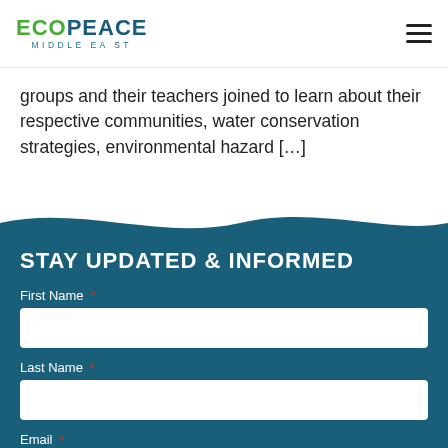ECOPEACE MIDDLE EAST
groups and their teachers joined to learn about their respective communities, water conservation strategies, environmental hazard [...]
STAY UPDATED & INFORMED
First Name *
Last Name *
Email *